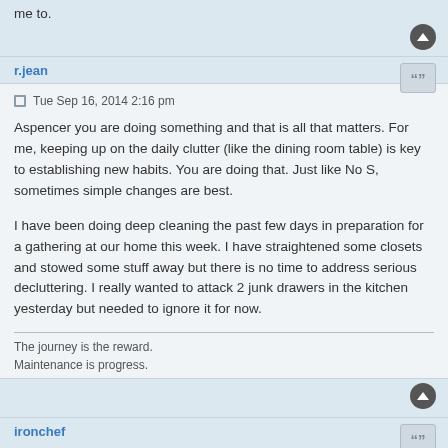me to.
r.jean
Tue Sep 16, 2014 2:16 pm
Aspencer you are doing something and that is all that matters. For me, keeping up on the daily clutter (like the dining room table) is key to establishing new habits. You are doing that. Just like No S, sometimes simple changes are best.

I have been doing deep cleaning the past few days in preparation for a gathering at our home this week. I have straightened some closets and stowed some stuff away but there is no time to address serious decluttering. I really wanted to attack 2 junk drawers in the kitchen yesterday but needed to ignore it for now.
The journey is the reward.
Maintenance is progress.
ironchef